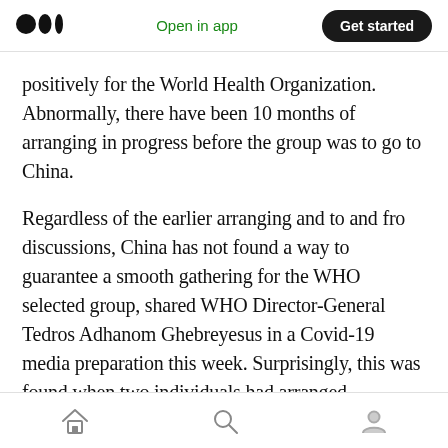Open in app | Get started
positively for the World Health Organization. Abnormally, there have been 10 months of arranging in progress before the group was to go to China.
Regardless of the earlier arranging and to and fro discussions, China has not found a way to guarantee a smooth gathering for the WHO selected group, shared WHO Director-General Tedros Adhanom Ghebreyesus in a Covid-19 media preparation this week. Surprisingly, this was found when two individuals had arranged
Home | Search | Profile